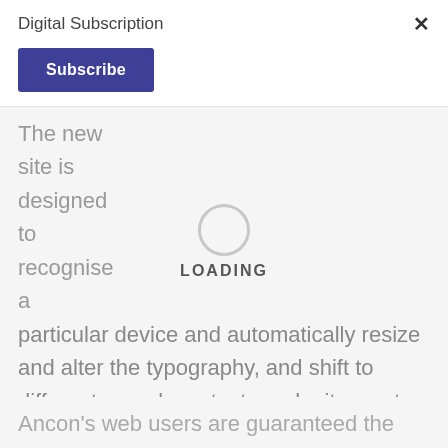Digital Subscription
[Figure (screenshot): Subscribe button — dark blue/indigo rectangular button with white bold text 'Subscribe']
The new site is designed to recognise a particular device and automatically resize and alter the typography, and shift to different page layouts, to make it easy to read and navigate at the particular screen size and definition involved.
[Figure (infographic): Loading spinner circle with 'LOADING' text below it, centered over content area]
Ancon's web users are guaranteed the same high